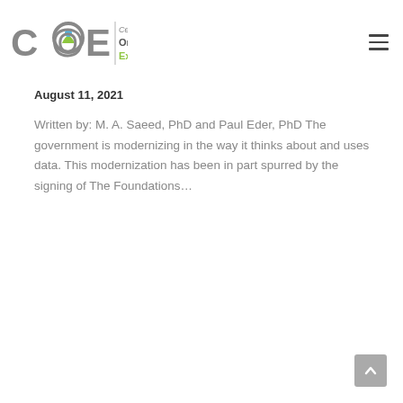[Figure (logo): COE Center for Organizational Excellence logo with icon and text]
August 11, 2021
Written by: M. A. Saeed, PhD and Paul Eder, PhD The government is modernizing in the way it thinks about and uses data. This modernization has been in part spurred by the signing of The Foundations…